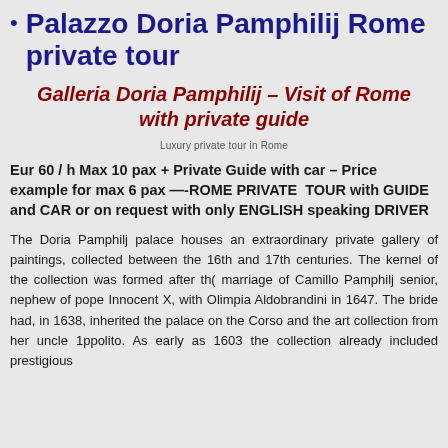Palazzo Doria Pamphilij Rome private tour
Galleria Doria Pamphilij – Visit of Rome with private guide
Luxury private tour in Rome
Eur 60 / h Max 10 pax + Private Guide with car – Price example for max 6 pax —-ROME PRIVATE  TOUR with GUIDE and CAR or on request with only ENGLISH speaking DRIVER
The Doria Pamphilj palace houses an extraordinary private gallery of paintings, collected between the 16th and 17th centuries. The kernel of the collection was formed after th( marriage of Camillo Pamphilj senior, nephew of pope Innocent X, with Olimpia Aldobrandini in 1647. The bride had, in 1638, inherited the palace on the Corso and the art collection from her uncle 1ppolito. As early as 1603 the collection already included prestigious